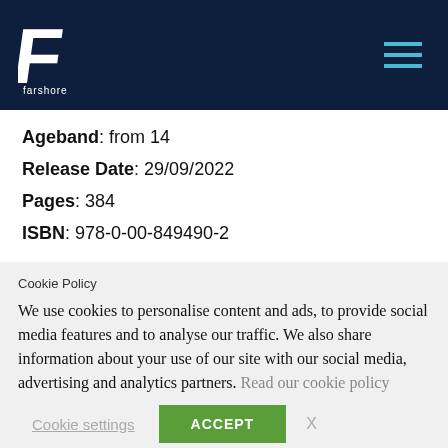Farshore logo and navigation menu
Ageband: from 14
Release Date: 29/09/2022
Pages: 384
ISBN: 978-0-00-849490-2
Social icons: Facebook, Instagram, Twitter
Privacy Policy   Careers   Corporate Social Responsibility
Cookie Policy
We use cookies to personalise content and ads, to provide social media features and to analyse our traffic. We also share information about your use of our site with our social media, advertising and analytics partners. Read our cookie policy
Cookie settings   ACCEPT   X